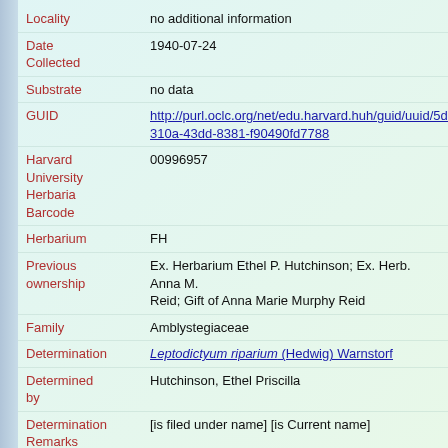| Field | Value |
| --- | --- |
| Locality | no additional information |
| Date Collected | 1940-07-24 |
| Substrate | no data |
| GUID | http://purl.oclc.org/net/edu.harvard.huh/guid/uuid/5d0310a-43dd-8381-f90490fd7788 |
| Harvard University Herbaria Barcode | 00996957 |
| Herbarium | FH |
| Previous ownership | Ex. Herbarium Ethel P. Hutchinson; Ex. Herb. Anna M. Reid; Gift of Anna Marie Murphy Reid |
| Family | Amblystegiaceae |
| Determination | Leptodictyum riparium (Hedwig) Warnstorf |
| Determined by | Hutchinson, Ethel Priscilla |
| Determination Remarks | [is filed under name] [is Current name] |
| Sex | not determined |
| Phenology | NotDetermined |
| Preparation Type | Packet |